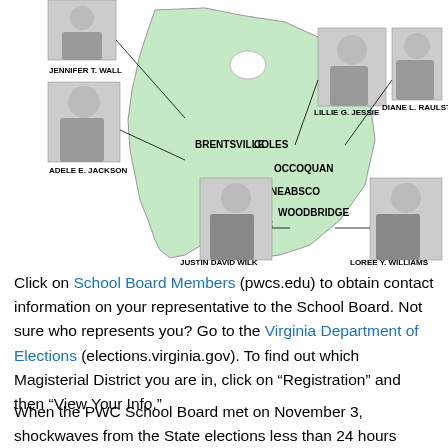[Figure (infographic): Map of Prince William County school board districts with headshots of board members labeled by district: Jennifer T. Wall, Adele E. Jackson, Lillie G. Jessie, Diane L. Raulston, Justin David Wilk, Loree Y. Williams. Districts labeled: Brentsville, Coles, Occoquan, Neabsco, Woodbridge, Potomac.]
Click on School Board Members (pwcs.edu) to obtain contact information on your representative to the School Board. Not sure who represents you? Go to the Virginia Department of Elections (elections.virginia.gov). To find out which Magisterial District you are in, click on “Registration” and then “View Your Info.”
When the PWC School Board met on November 3, shockwaves from the State elections less than 24 hours